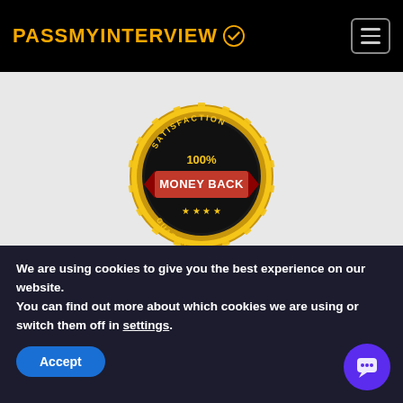PASSMYINTERVIEW
[Figure (illustration): Gold satisfaction badge with red ribbon reading '100% MONEY BACK GUARANTEED' with stars]
30-DAY MONEYBACK
We are using cookies to give you the best experience on our website.
You can find out more about which cookies we are using or switch them off in settings.
Accept